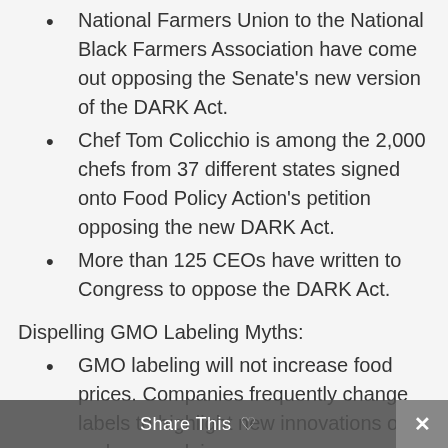National Farmers Union to the National Black Farmers Association have come out opposing the Senate's new version of the DARK Act.
Chef Tom Colicchio is among the 2,000 chefs from 37 different states signed onto Food Policy Action's petition opposing the new DARK Act.
More than 125 CEOs have written to Congress to oppose the DARK Act.
Dispelling GMO Labeling Myths:
GMO labeling will not increase food prices. Companies frequently change labels to highlight new innovations or to make new claims.
Voluntary labeling will not work. Companies have been allowed to make voluntary non-GMO disclosures since 2001, but consumers are more...